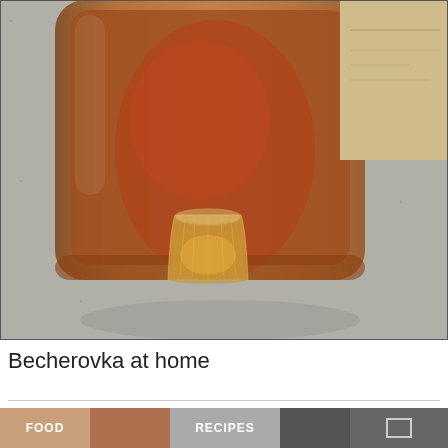[Figure (photo): Large amber/brown glass jar (fermentation vessel) and a cut crystal glass filled with golden-amber liquid (Becherovka), both sitting on a granite countertop. A cardboard box is partially visible in the upper right.]
Becherovka at home
[Figure (photo): Bottom thumbnail strip showing food and recipe category images with text 'FOOD' and 'RECIPES']